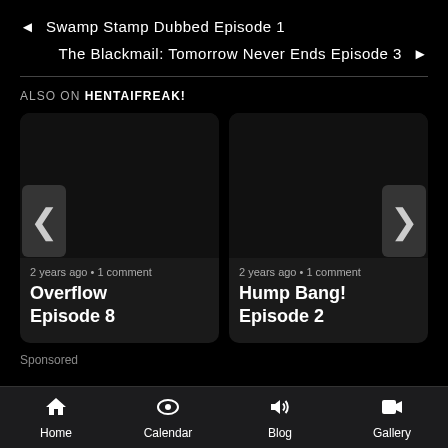◄ Swamp Stamp Dubbed Episode 1
The Blackmail: Tomorrow Never Ends Episode 3 ►
ALSO ON HENTAIFREAK!
[Figure (screenshot): Card thumbnail for Overflow Episode 8 — dark placeholder image]
2 years ago • 1 comment
Overflow Episode 8
[Figure (screenshot): Card thumbnail for Hump Bang! Episode 2 — dark placeholder image]
2 years ago • 1 comment
Hump Bang! Episode 2
Sponsored
Home  Calendar  Blog  Gallery